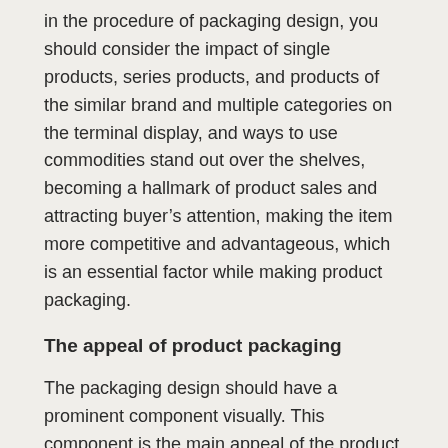in the procedure of packaging design, you should consider the impact of single products, series products, and products of the similar brand and multiple categories on the terminal display, and ways to use commodities stand out over the shelves, becoming a hallmark of product sales and attracting buyer's attention, making the item more competitive and advantageous, which is an essential factor while making product packaging.
The appeal of product packaging
The packaging design should have a prominent component visually. This component is the main appeal of the product and the selling aspect of the product. Whether one can grasp this point is crucial to determining the success of the packaging.
Color, position and size utilized are already standardized in the fi...